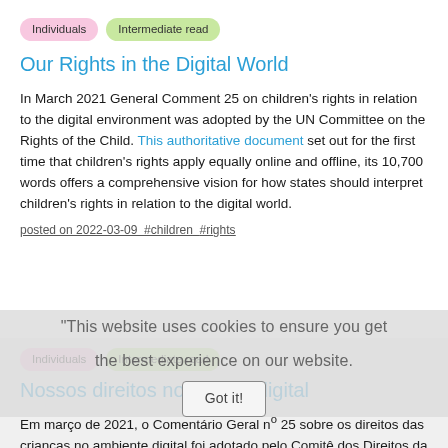Individuals   Intermediate read
Our Rights in the Digital World
In March 2021 General Comment 25 on children's rights in relation to the digital environment was adopted by the UN Committee on the Rights of the Child. This authoritative document set out for the first time that children's rights apply equally online and offline, its 10,700 words offers a comprehensive vision for how states should interpret children's rights in relation to the digital world.
posted on 2022-03-09  #children  #rights
Individuals   Intermediate read
Nossos direitos no mundo digital
Em março de 2021, o Comentário Geral nº 25 sobre os direitos das crianças no ambiente digital foi adotado pelo Comitê dos Direitos da Criança das Nações Unidas. Esse documento oficial estabeleceu pela primeira vez que os direitos das crianças se aplicam igualmente tanto no ambiente online quanto no offline.